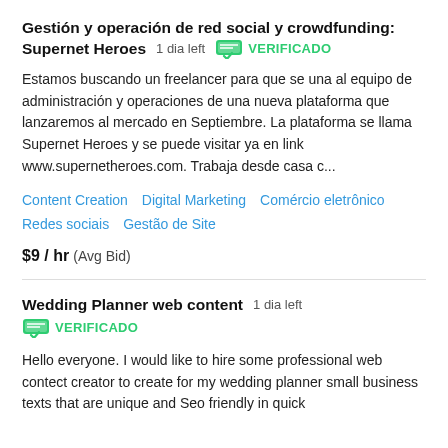Gestión y operación de red social y crowdfunding: Supernet Heroes  1 dia left  VERIFICADO
Estamos buscando un freelancer para que se una al equipo de administración y operaciones de una nueva plataforma que lanzaremos al mercado en Septiembre. La plataforma se llama Supernet Heroes y se puede visitar ya en link www.supernetheroes.com. Trabaja desde casa c...
Content Creation   Digital Marketing   Comércio eletrônico   Redes sociais   Gestão de Site
$9 / hr  (Avg Bid)
Wedding Planner web content  1 dia left  VERIFICADO
Hello everyone. I would like to hire some professional web contect creator to create for my wedding planner small business texts that are unique and Seo friendly in quick